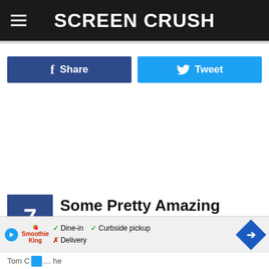Screen Crush
[Figure (screenshot): Facebook Share button (dark blue) and Twitter Tweet button (light blue) side by side]
7 Some Pretty Amazing Examples of "Cruise Face"
[Figure (infographic): Bottom advertisement banner: Smoothie King ad with play button, checkmarks for Dine-in and Curbside pickup, X for Delivery, and blue navigation diamond arrow]
Tom C... he